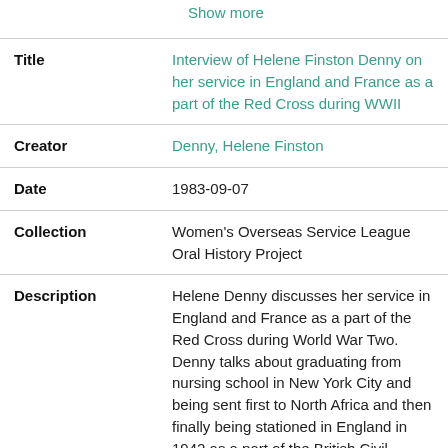Show more
| Field | Value |
| --- | --- |
| Title | Interview of Helene Finston Denny on her service in England and France as a part of the Red Cross during WWII |
| Creator | Denny, Helene Finston |
| Date | 1983-09-07 |
| Collection | Women's Overseas Service League Oral History Project |
| Description | Helene Denny discusses her service in England and France as a part of the Red Cross during World War Two. Denny talks about graduating from nursing school in New York City and being sent first to North Africa and then finally being stationed in England in 1942 as a part of the British Civil Defense. Denny says that she was sent to Edinburgh for training in triage and later served as a triage nurse in |